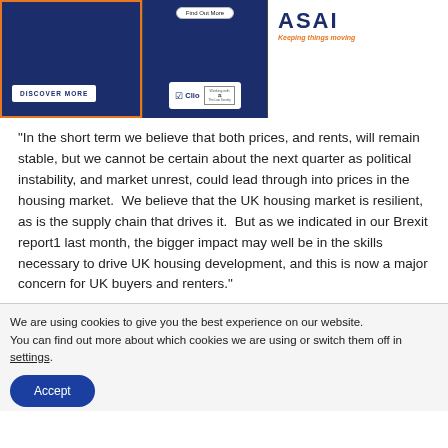[Figure (screenshot): Top banner row with three sections: left dark navy panel with 'DISCOVER MORE' button, middle dark navy panel with 'Find Out More' pill button and Clio/Law Society logos on white background, right white panel with ASAI logo and 'Keeping things moving' tagline.]
"In the short term we believe that both prices, and rents, will remain stable, but we cannot be certain about the next quarter as political instability, and market unrest, could lead through into prices in the housing market.  We believe that the UK housing market is resilient, as is the supply chain that drives it.  But as we indicated in our Brexit report1 last month, the bigger impact may well be in the skills necessary to drive UK housing development, and this is now a major concern for UK buyers and renters."
We are using cookies to give you the best experience on our website.
You can find out more about which cookies we are using or switch them off in settings.
Accept